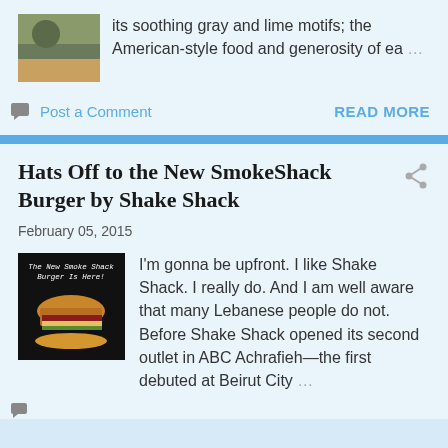its soothing gray and lime motifs; the American-style food and generosity of ea …
Post a Comment
READ MORE
Hats Off to the New SmokeShack Burger by Shake Shack
February 05, 2015
[Figure (photo): Photo of a burger with text overlay 'The New Smoke Shack Burger Is Here!']
I'm gonna be upfront. I like Shake Shack. I really do. And I am well aware that many Lebanese people do not. Before Shake Shack opened its second outlet in ABC Achrafieh—the first debuted at Beirut City …